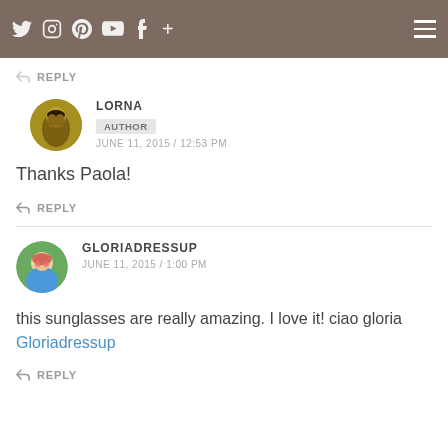Navigation bar with social icons and hamburger menu
REPLY
LORNA
AUTHOR
JUNE 11, 2015 / 12:53 PM
Thanks Paola!
REPLY
GLORIADRESSUP
JUNE 11, 2015 / 1:00 PM
this sunglasses are really amazing. I love it! ciao gloria
Gloriadressup
REPLY